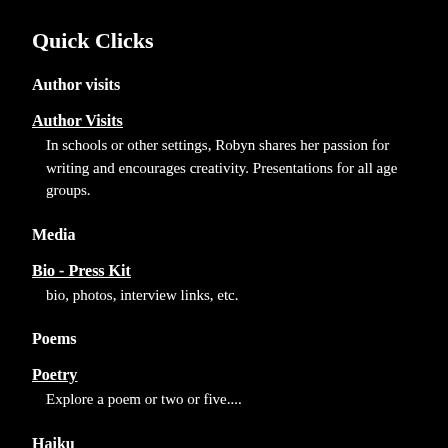Quick Clicks
Author visits
Author Visits
In schools or other settings, Robyn shares her passion for writing and encourages creativity. Presentations for all age groups.
Media
Bio - Press Kit
bio, photos, interview links, etc.
Poems
Poetry
Explore a poem or two or five....
Haiku
HAIKU